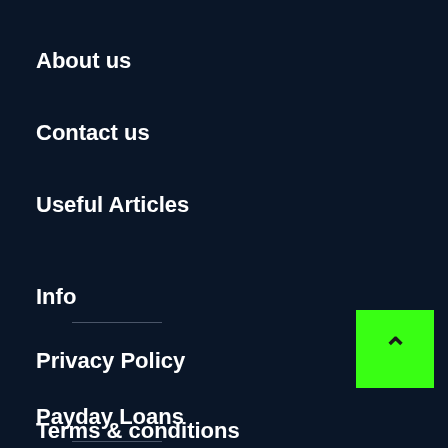About us
Contact us
Useful Articles
Info
Privacy Policy
Terms & conditions
Payday Loans
[Figure (other): Green back-to-top button with upward chevron arrow]